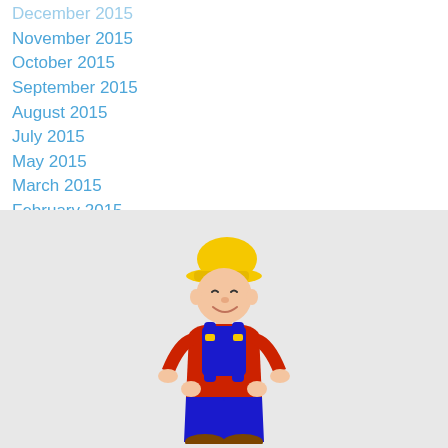December 2015
November 2015
October 2015
September 2015
August 2015
July 2015
May 2015
March 2015
February 2015
[Figure (illustration): Cartoon illustration of a cheerful boy wearing a yellow baseball cap, red long-sleeve shirt, blue overalls with yellow buckles, and brown shoes, standing with hands in pockets]